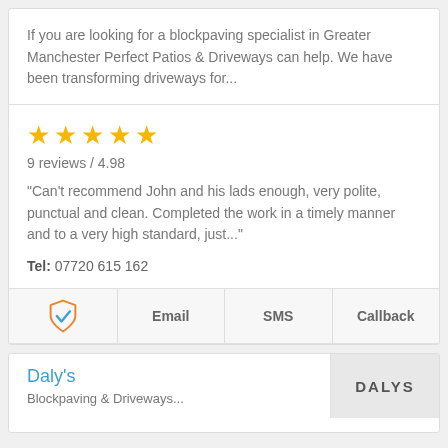If you are looking for a blockpaving specialist in Greater Manchester Perfect Patios & Driveways can help. We have been transforming driveways for...
[Figure (other): Five gold star rating icons]
9 reviews / 4.98
"Can't recommend John and his lads enough, very polite, punctual and clean. Completed the work in a timely manner and to a very high standard, just..."
Tel: 07720 615 162
[Figure (other): Shield checkmark icon with orange outline and blue check]
Email
SMS
Callback
Daly's
Blockpaving & Driveways...
[Figure (logo): DALYS logo text on grey background]